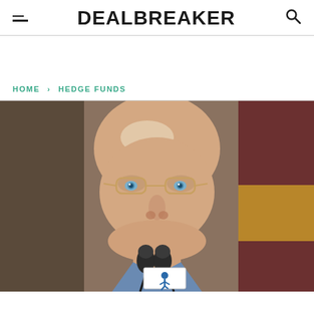DEALBREAKER
HOME > HEDGE FUNDS
[Figure (photo): Close-up photo of a bald man with glasses and blue eyes speaking into a microphone at a podium. The microphone has a blue logo on it. Background shows a blurred brownish-red and golden setting.]